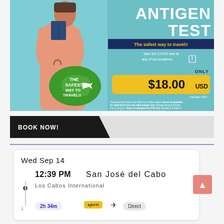[Figure (infographic): Antigen test advertisement banner showing a woman with luggage and passport, promoting COVID antigen test for $18.00 USD at Los Cabos airport locations. Tagline: 'The safest way to travel!!']
BOOK NOW!
Wed Sep 14
12:39 PM   San José del Cabo
Los Cabos International
2h 34m   spirit   Direct